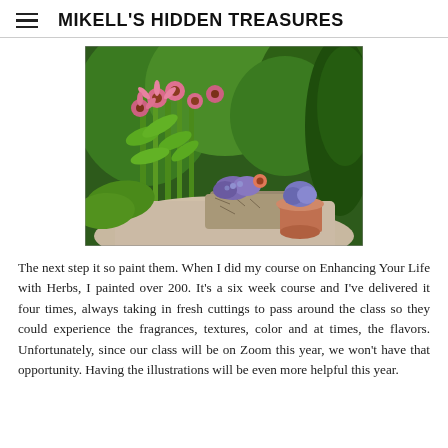MIKELL'S HIDDEN TREASURES
[Figure (photo): A lush garden scene with tall green plants, pink coneflowers, and potted plants including a stone planter and terracotta pot with purple and pink flowers, set on a gravel path surrounded by dense greenery.]
The next step it so paint them. When I did my course on Enhancing Your Life with Herbs, I painted over 200. It's a six week course and I've delivered it four times, always taking in fresh cuttings to pass around the class so they could experience the fragrances, textures, color and at times, the flavors. Unfortunately, since our class will be on Zoom this year, we won't have that opportunity. Having the illustrations will be even more helpful this year.